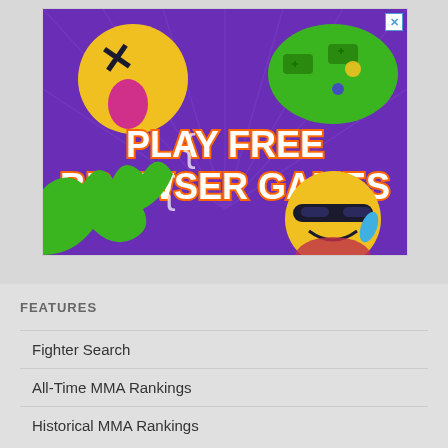[Figure (screenshot): Advertisement banner for browser games on a purple background with 3D emoji characters, game controllers, and text 'PLAY FREE BROWSER GAMES' in colorful block letters. Has a close button (X) in top right corner.]
FEATURES
Fighter Search
All-Time MMA Rankings
Historical MMA Rankings